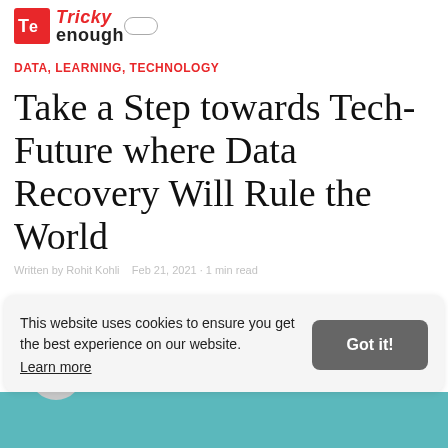[Figure (logo): Tricky Enough logo: red square with 'Te' monogram and red italic 'Tricky' text over bold black 'enough' text]
DATA, LEARNING, TECHNOLOGY
Take a Step towards Tech-Future where Data Recovery Will Rule the World
This website uses cookies to ensure you get the best experience on our website. Learn more
[Figure (photo): Teal/cyan colored banner image at bottom of page]